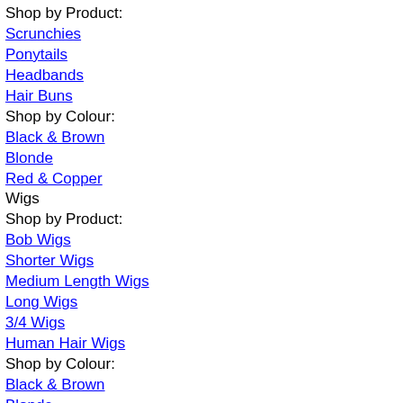Shop by Product:
Scrunchies
Ponytails
Headbands
Hair Buns
Shop by Colour:
Black & Brown
Blonde
Red & Copper
Wigs
Shop by Product:
Bob Wigs
Shorter Wigs
Medium Length Wigs
Long Wigs
3/4 Wigs
Human Hair Wigs
Shop by Colour:
Black & Brown
Blonde
Red & Copper
Bright
Ombre/Dipdye
Hair Care
Shop by Product: